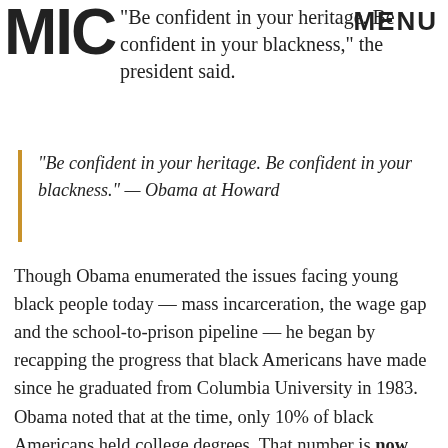MIC | MENU
"Be confident in your heritage. Be confident in your blackness," the president said.
"Be confident in your heritage. Be confident in your blackness." — Obama at Howard
Though Obama enumerated the issues facing young black people today — mass incarceration, the wage gap and the school-to-prison pipeline — he began by recapping the progress that black Americans have made since he graduated from Columbia University in 1983. Obama noted that at the time, only 10% of black Americans held college degrees. That number is now 28%. The ranks of American millionaires and CEOs are